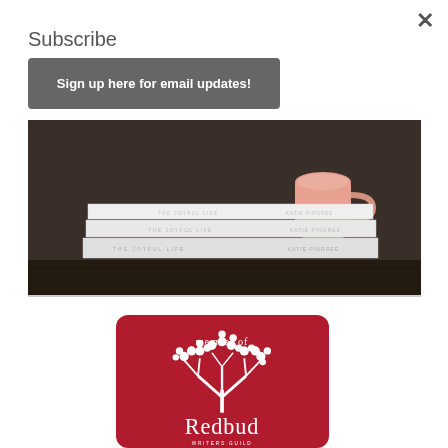Subscribe
Sign up here for email updates!
[Figure (photo): Stack of white books with text 'THE JOYFUL LIFE' on covers, with a pink mug on top, on a dark wooden surface]
[Figure (logo): Red square badge with rounded corners showing 'member of Redbud' with a white tree illustration]